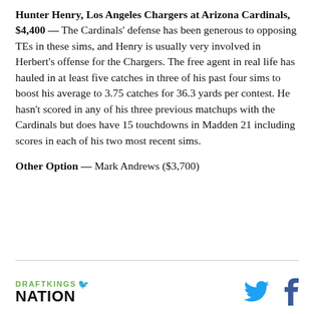Hunter Henry, Los Angeles Chargers at Arizona Cardinals, $4,400 — The Cardinals' defense has been generous to opposing TEs in these sims, and Henry is usually very involved in Herbert's offense for the Chargers. The free agent in real life has hauled in at least five catches in three of his past four sims to boost his average to 3.75 catches for 36.3 yards per contest. He hasn't scored in any of his three previous matchups with the Cardinals but does have 15 touchdowns in Madden 21 including scores in each of his two most recent sims.
Other Option — Mark Andrews ($3,700)
DRAFTKINGS NATION